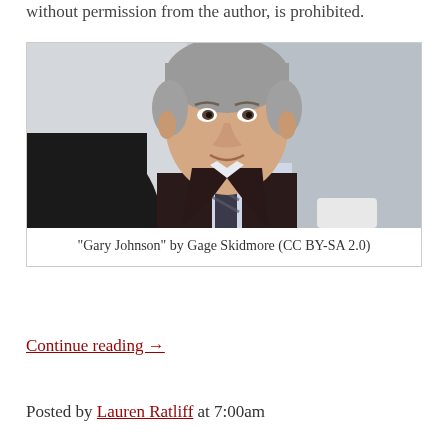without permission from the author, is prohibited.
[Figure (photo): Photograph of Gary Johnson, a man in a dark pinstripe suit with a striped tie, gray hair, smiling slightly, in an indoor setting.]
"Gary Johnson" by Gage Skidmore (CC BY-SA 2.0)
Continue reading →
Posted by Lauren Ratliff at 7:00am